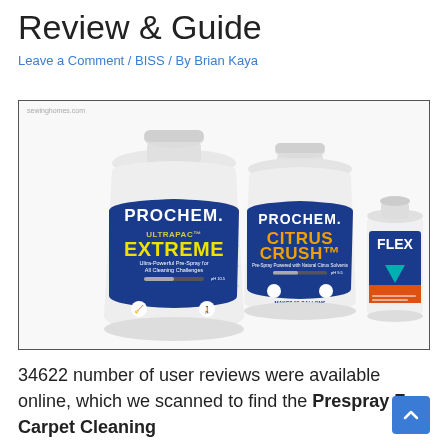Review & Guide
Leave a Comment / BISS / By Brian Kaya
[Figure (photo): Three Prochem cleaning product containers: Prochem Ultrapac Extreme (large, blue label), Prochem Citrus Crush (medium, blue label), and Flex (small, white bottle with orange/teal label). Watermark: sewinghomes.com]
34622 number of user reviews were available online, which we scanned to find the Prespray For Carpet Cleaning